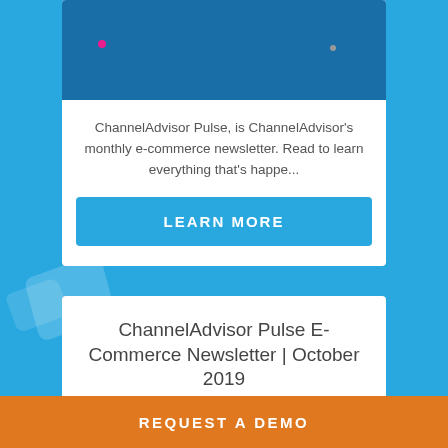[Figure (screenshot): Thumbnail image with dark blue background, pink dot and gray dot visible]
ChannelAdvisor Pulse, is ChannelAdvisor's monthly e-commerce newsletter. Read to learn everything that's happe...
LEARN MORE
ChannelAdvisor Pulse E-Commerce Newsletter | October 2019
[Figure (screenshot): Thumbnail image with dark blue background and pink dot]
REQUEST A DEMO